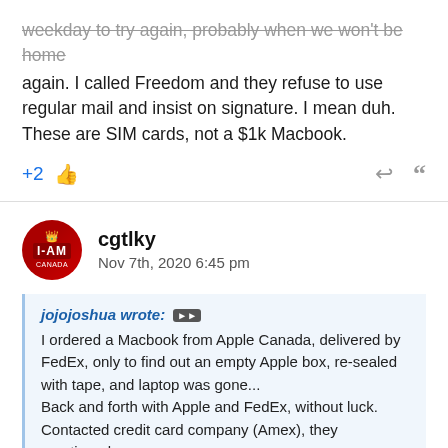weekday to try again, probably when we won't be home again. I called Freedom and they refuse to use regular mail and insist on signature. I mean duh. These are SIM cards, not a $1k Macbook.
+2 [thumbs up] [reply] [quote]
cgtlky
Nov 7th, 2020 6:45 pm
jojojoshua wrote: I ordered a Macbook from Apple Canada, delivered by FedEx, only to find out an empty Apple box, re-sealed with tape, and laptop was gone... Back and forth with Apple and FedEx, without luck. Contacted credit card company (Amex), they mentioned